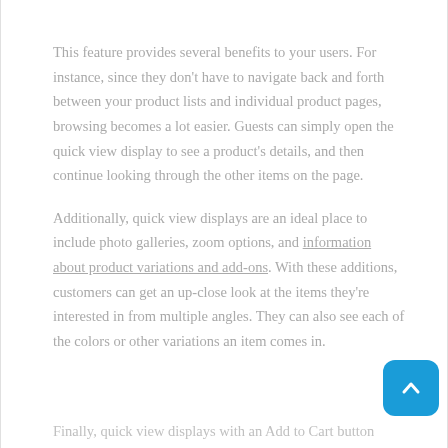This feature provides several benefits to your users. For instance, since they don't have to navigate back and forth between your product lists and individual product pages, browsing becomes a lot easier. Guests can simply open the quick view display to see a product's details, and then continue looking through the other items on the page.
Additionally, quick view displays are an ideal place to include photo galleries, zoom options, and information about product variations and add-ons. With these additions, customers can get an up-close look at the items they're interested in from multiple angles. They can also see each of the colors or other variations an item comes in.
Finally, quick view displays with an Add to Cart button